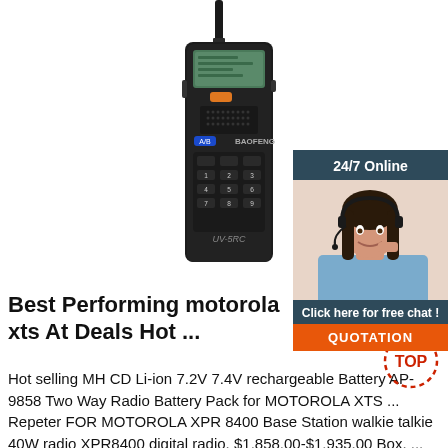[Figure (photo): Black Baofeng UV-5R handheld two-way radio walkie-talkie with keypad and LCD display, shown against white background]
[Figure (photo): Customer service advertisement: '24/7 Online' banner in dark teal, photo of smiling woman with headset, 'Click here for free chat!' text, and orange QUOTATION button]
Best Performing motorola xts At Deals Hot ...
Hot selling MH CD Li-ion 7.2V 7.4V rechargeable Battery AP-9858 Two Way Radio Battery Pack for MOTOROLA XTS ... Repeter FOR MOTOROLA XPR 8400 Base Station walkie talkie 40W radio XPR8400 digital radio. $1,858.00-$1,935.00 Box. ... Police